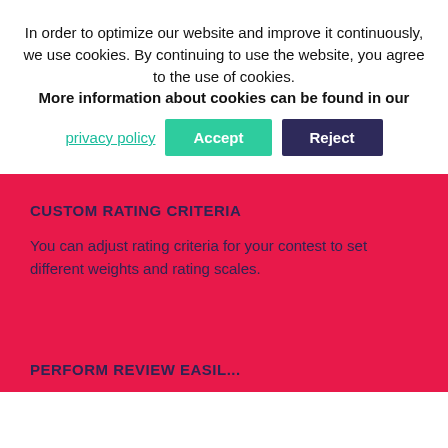In order to optimize our website and improve it continuously, we use cookies. By continuing to use the website, you agree to the use of cookies. More information about cookies can be found in our
privacy policy  Accept  Reject
CUSTOM RATING CRITERIA
You can adjust rating criteria for your contest to set different weights and rating scales.
PERFORM REVIEW EASIL...